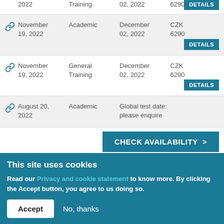| Date | Type | Test Date | Price |
| --- | --- | --- | --- |
| 2022 | Training | 02, 2022 | 6290 | DETAILS |
| November 19, 2022 | Academic | December 02, 2022 | CZK 6290 | DETAILS |
| November 19, 2022 | General Training | December 02, 2022 | CZK 6290 | DETAILS |
| August 20, 2022 | Academic | Global test date: please enquire |  |  |
CHECK AVAILABILITY >
This site uses cookies
Read our Privacy and cookie statement to know more. By clicking the Accept button, you agree to us doing so.
Accept   No, thanks